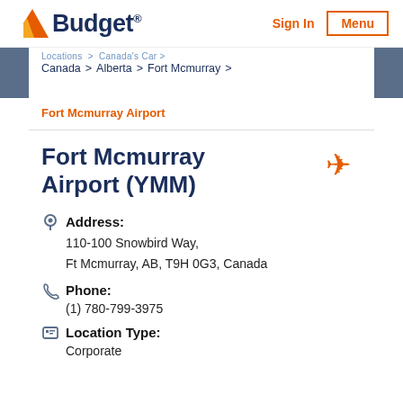Budget – Sign In | Menu
Locations > Canada's Car > Canada > Alberta > Fort Mcmurray > Fort Mcmurray Airport
Fort Mcmurray Airport (YMM)
Address: 110-100 Snowbird Way, Ft Mcmurray, AB, T9H 0G3, Canada
Phone: (1) 780-799-3975
Location Type: Corporate